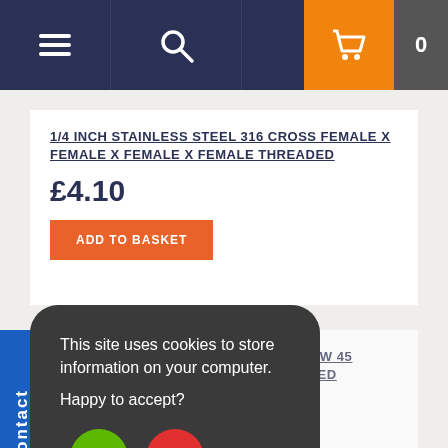Navigation bar with menu, search, and cart (0 items)
1/4 INCH STAINLESS STEEL 316 CROSS FEMALE X FEMALE X FEMALE X FEMALE THREADED
£4.10
ADD TO BASKET
3/4 INCH STAINLESS STEEL 316 ELBOW 45 DEGREE FEMALE X FEMALE THREADED
£3.74
ADD TO BASKET
This site uses cookies to store information on your computer. Happy to accept?